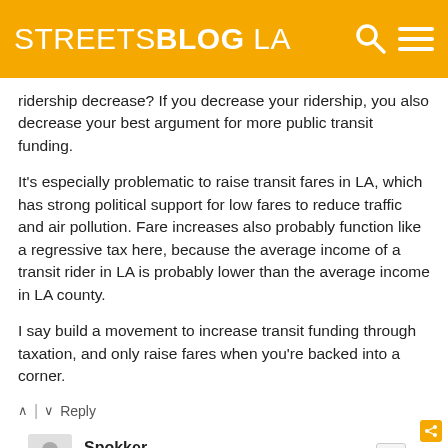STREETSBLOG LA
ridership decrease? If you decrease your ridership, you also decrease your best argument for more public transit funding.
It's especially problematic to raise transit fares in LA, which has strong political support for low fares to reduce traffic and air pollution. Fare increases also probably function like a regressive tax here, because the average income of a transit rider in LA is probably lower than the average income in LA county.
I say build a movement to increase transit funding through taxation, and only raise fares when you're backed into a corner.
^ | v  Reply
Spokker
13 years ago
"On the eve of yet another fare hike, transit advocates have themselves to blame."